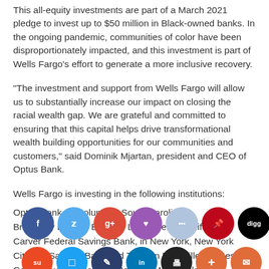This all-equity investments are part of a March 2021 pledge to invest up to $50 million in Black-owned banks. In the ongoing pandemic, communities of color have been disproportionately impacted, and this investment is part of Wells Fargo's effort to generate a more inclusive recovery.
“The investment and support from Wells Fargo will allow us to substantially increase our impact on closing the racial wealth gap. We are grateful and committed to ensuring that this capital helps drive transformational wealth building opportunities for our communities and customers,” said Dominik Mjartan, president and CEO of Optus Bank.
Wells Fargo is investing in the following institutions:
Optus Bank, in Columbia, South Carolina
Broadway Federal Bank, in Los Angeles, California
Carver Federal Savings Bank, in New York, New York
Citizens Savings Bank and Trust, in Nashville, Tennessee
Commonwealth National Bank, in Mobile, Alabama
M&F Bank, in Durham, North Carolina
Importance of MDIs in U.S. financial ecosystem
MDIs, some dating back to the early 1900s, serve communities in